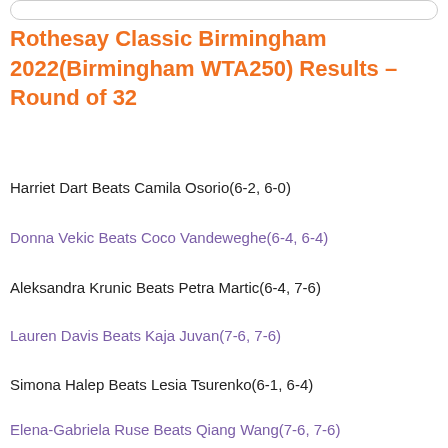Rothesay Classic Birmingham 2022(Birmingham WTA250) Results – Round of 32
Harriet Dart Beats Camila Osorio(6-2, 6-0)
Donna Vekic Beats Coco Vandeweghe(6-4, 6-4)
Aleksandra Krunic Beats Petra Martic(6-4, 7-6)
Lauren Davis Beats Kaja Juvan(7-6, 7-6)
Simona Halep Beats Lesia Tsurenko(6-1, 6-4)
Elena-Gabriela Ruse Beats Qiang Wang(7-6, 7-6)